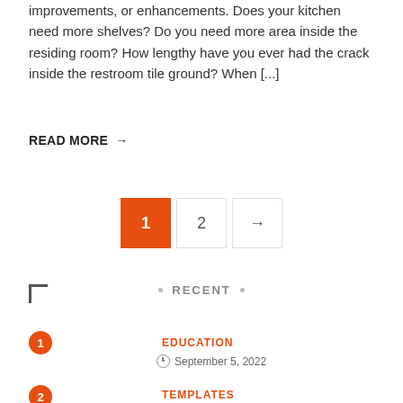improvements, or enhancements. Does your kitchen need more shelves? Do you need more area inside the residing room? How lengthy have you ever had the crack inside the restroom tile ground? When [...]
READ MORE →
[Figure (infographic): Pagination controls: page 1 (active, orange), page 2, and next arrow button]
RECENT
1 · EDUCATION · September 5, 2022
2 · TEMPLATES